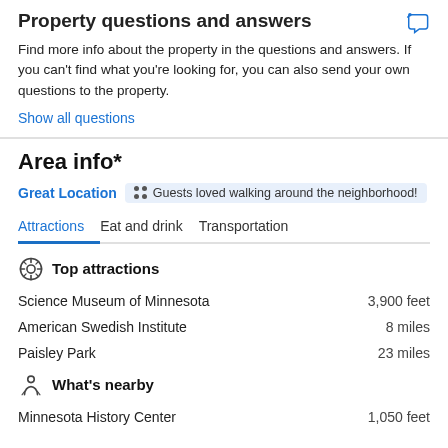Property questions and answers
Find more info about the property in the questions and answers. If you can't find what you're looking for, you can also send your own questions to the property.
Show all questions
Area info*
Great Location  Guests loved walking around the neighborhood!
Attractions   Eat and drink   Transportation
Top attractions
Science Museum of Minnesota   3,900 feet
American Swedish Institute   8 miles
Paisley Park   23 miles
What's nearby
Minnesota History Center   1,050 feet